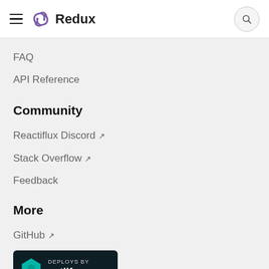Redux
FAQ
API Reference
Community
Reactiflux Discord ↗
Stack Overflow ↗
Feedback
More
GitHub ↗
[Figure (logo): Deploys by Netlify badge with teal diamond logo]